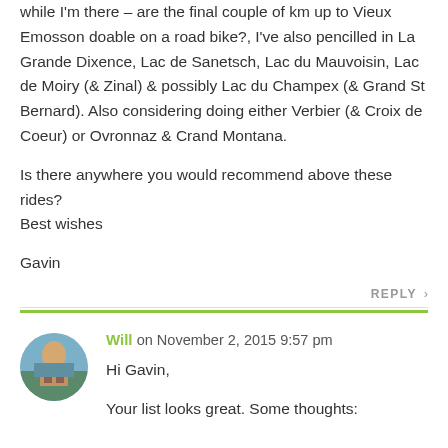while I'm there – are the final couple of km up to Vieux Emosson doable on a road bike?, I've also pencilled in La Grande Dixence, Lac de Sanetsch, Lac du Mauvoisin, Lac de Moiry (& Zinal) & possibly Lac du Champex (& Grand St Bernard). Also considering doing either Verbier (& Croix de Coeur) or Ovronnaz & Crand Montana.
Is there anywhere you would recommend above these rides?
Best wishes
Gavin
REPLY >
Will on November 2, 2015 9:57 pm
Hi Gavin,
Your list looks great. Some thoughts: